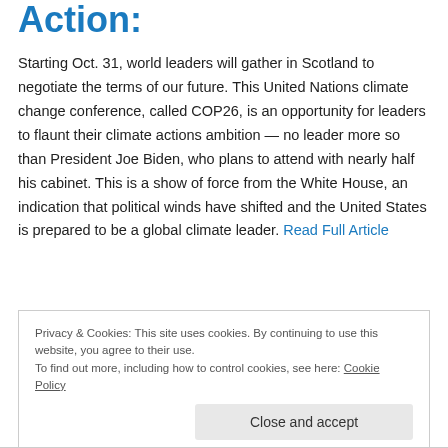Action:
Starting Oct. 31, world leaders will gather in Scotland to negotiate the terms of our future. This United Nations climate change conference, called COP26, is an opportunity for leaders to flaunt their climate actions ambition — no leader more so than President Joe Biden, who plans to attend with nearly half his cabinet. This is a show of force from the White House, an indication that political winds have shifted and the United States is prepared to be a global climate leader. Read Full Article
Privacy & Cookies: This site uses cookies. By continuing to use this website, you agree to their use.
To find out more, including how to control cookies, see here: Cookie Policy
Close and accept